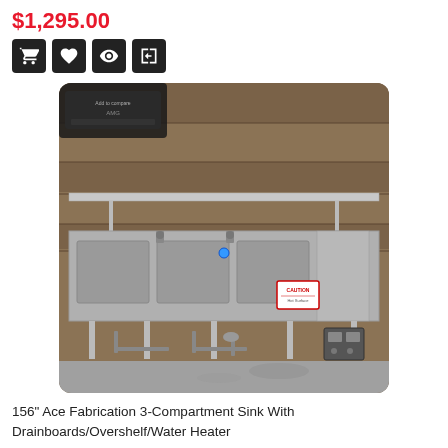$1,295.00
[Figure (photo): Product listing interface showing action icons (cart, wishlist, view, compare) and a photograph of a 156-inch stainless steel 3-compartment sink with drainboards, overshelf, and water heater installed in a commercial kitchen with wood-paneled wall background and concrete floor.]
156" Ace Fabrication 3-Compartment Sink With Drainboards/Overshelf/Water Heater